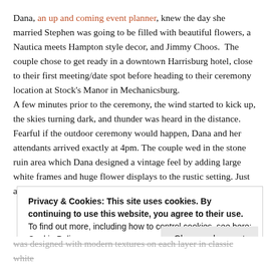Dana, an up and coming event planner, knew the day she married Stephen was going to be filled with beautiful flowers, a Nautica meets Hampton style decor, and Jimmy Choos. The couple chose to get ready in a downtown Harrisburg hotel, close to their first meeting/date spot before heading to their ceremony location at Stock's Manor in Mechanicsburg. A few minutes prior to the ceremony, the wind started to kick up, the skies turning dark, and thunder was heard in the distance. Fearful if the outdoor ceremony would happen, Dana and her attendants arrived exactly at 4pm. The couple wed in the stone ruin area which Dana designed a vintage feel by adding large white frames and huge flower displays to the rustic setting. Just as the couple shared
Privacy & Cookies: This site uses cookies. By continuing to use this website, you agree to their use. To find out more, including how to control cookies, see here: Cookie Policy
Close and accept
was designed with modern textures on each layer in classic white